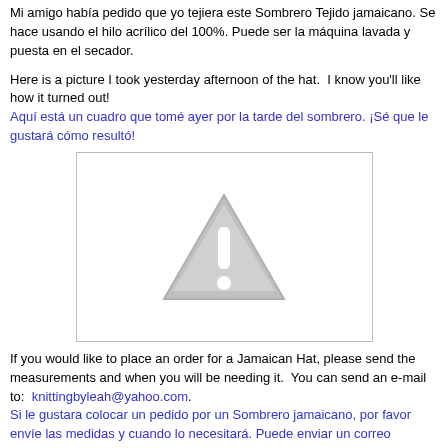Mi amigo había pedido que yo tejiera este Sombrero Tejido jamaicano. Se hace usando el hilo acrílico del 100%. Puede ser la máquina lavada y puesta en el secador.
Here is a picture I took yesterday afternoon of the hat. I know you'll like how it turned out!
Aquí está un cuadro que tomé ayer por la tarde del sombrero. ¡Sé que le gustará cómo resultó!
[Figure (photo): Placeholder image with warning/image-unavailable icon (triangle with exclamation mark) indicating a hat photo that could not be displayed.]
If you would like to place an order for a Jamaican Hat, please send the measurements and when you will be needing it. You can send an e-mail to: knittingbyleah@yahoo.com.
Si le gustara colocar un pedido por un Sombrero jamaicano, por favor envíe las medidas y cuando lo necesitará. Puede enviar un correo electrónico a: knittingbyleah@yahoo.com.